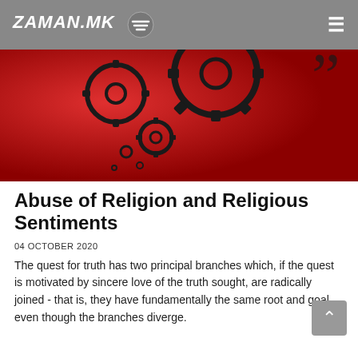ZAMAN.MK
[Figure (illustration): Red background hero image with dark gear/cog wheel illustrations and a quotation mark graphic]
Abuse of Religion and Religious Sentiments
04 OCTOBER 2020
The quest for truth has two principal branches which, if the quest is motivated by sincere love of the truth sought, are radically joined - that is, they have fundamentally the same root and goal even though the branches diverge.